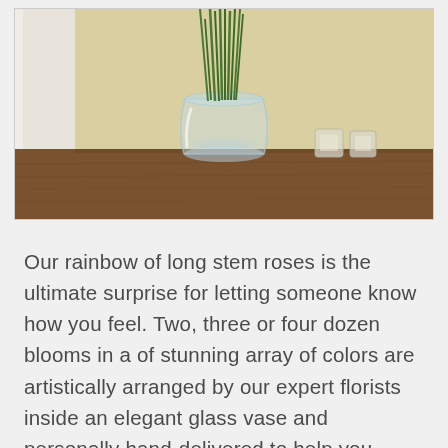[Figure (photo): A glass vase filled with long green stems (roses without blooms) sitting on a dark wooden table, with small candle holders in the background and a light-colored curtain to the left.]
Our rainbow of long stem roses is the ultimate surprise for letting someone know how you feel. Two, three or four dozen blooms in a of stunning array of colors are artistically arranged by our expert florists inside an elegant glass vase and personally hand-delivered to help you beautifully express what's in your heart. All-around arrangement with 24, 36 or 48 long stem multicolor roses;